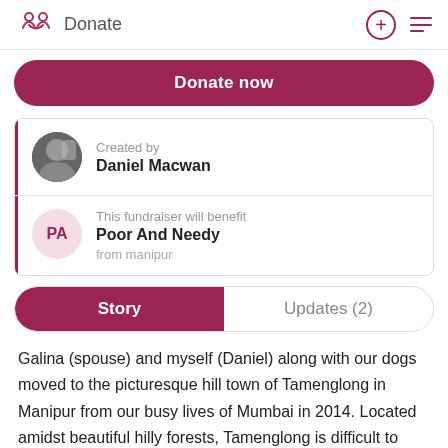Donate
Donate now
Created by
Daniel Macwan
This fundraiser will benefit
Poor And Needy
from manipur
Story
Updates (2)
Galina (spouse) and myself (Daniel) along with our dogs moved to the picturesque hill town of Tamenglong in Manipur from our busy lives of Mumbai in 2014. Located amidst beautiful hilly forests, Tamenglong is difficult to